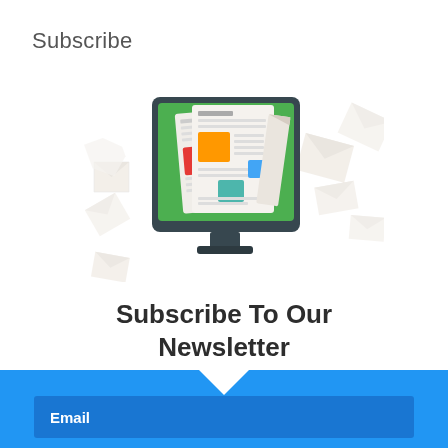Subscribe
[Figure (illustration): Flat-style illustration of a computer monitor with a green screen displaying newspaper/newsletter pages with colored blocks, surrounded by floating envelope icons on both sides]
Subscribe To Our Newsletter
Join our mailing list to receive the latest news and updates from our team.
Email